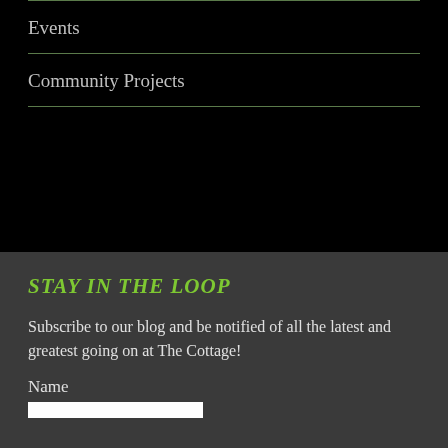Events
Community Projects
STAY IN THE LOOP
Subscribe to our blog and be notified of all the latest and greatest going on at The Cottage!
Name